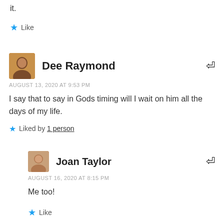it.
★ Like
Dee Raymond
AUGUST 13, 2020 AT 9:53 PM
I say that to say in Gods timing will I wait on him all the days of my life.
★ Liked by 1 person
Joan Taylor
AUGUST 16, 2020 AT 8:15 PM
Me too!
★ Like